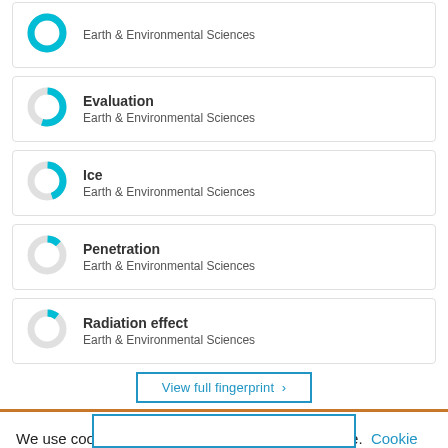Earth & Environmental Sciences
Evaluation
Earth & Environmental Sciences
Ice
Earth & Environmental Sciences
Penetration
Earth & Environmental Sciences
Radiation effect
Earth & Environmental Sciences
View full fingerprint
We use cookies to analyse and improve our service. Cookie Policy